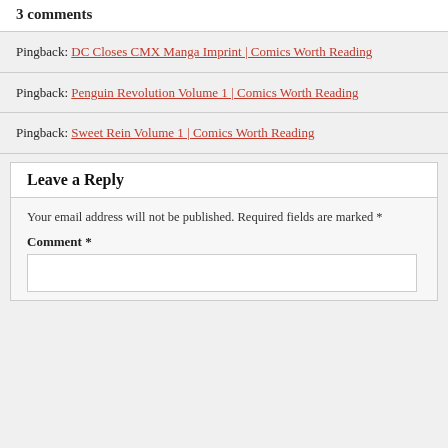3 comments
Pingback: DC Closes CMX Manga Imprint | Comics Worth Reading
Pingback: Penguin Revolution Volume 1 | Comics Worth Reading
Pingback: Sweet Rein Volume 1 | Comics Worth Reading
Leave a Reply
Your email address will not be published. Required fields are marked *
Comment *